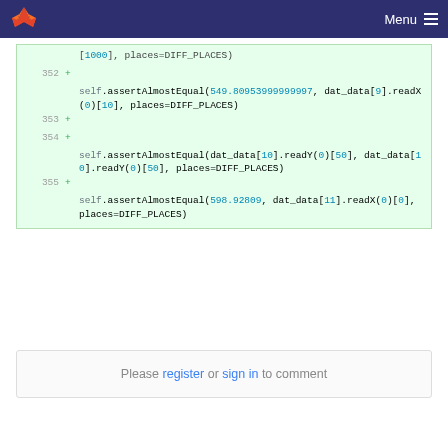Menu
[Figure (screenshot): GitLab code diff screenshot showing added lines 352-355 with Python unit test assertions using assertAlmostEqual]
Please register or sign in to comment